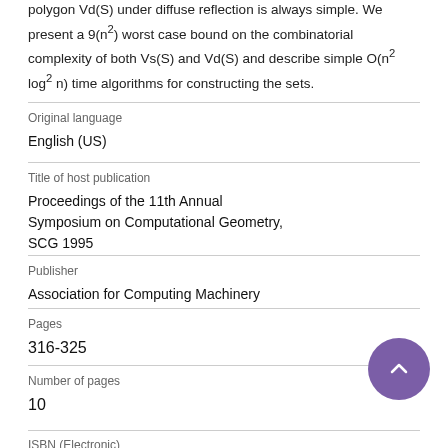polygon Vd(S) under diffuse reflection is always simple. We present a 9(n²) worst case bound on the combinatorial complexity of both Vs(S) and Vd(S) and describe simple O(n² log² n) time algorithms for constructing the sets.
Original language
English (US)
Title of host publication
Proceedings of the 11th Annual Symposium on Computational Geometry, SCG 1995
Publisher
Association for Computing Machinery
Pages
316-325
Number of pages
10
ISBN (Electronic)